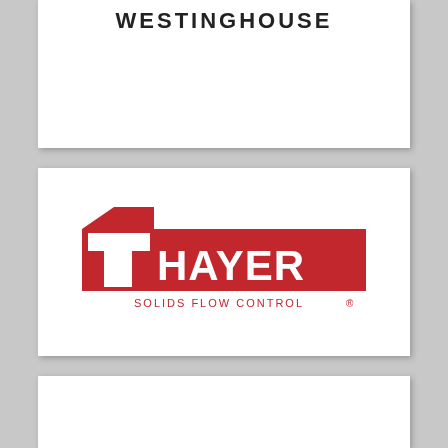WESTINGHOUSE
[Figure (logo): Thayer Solids Flow Control logo — red rectangular logo with large white letter T and the word THAYER in white on a red background, with text SOLIDS FLOW CONTROL below in red, and a registered trademark symbol]
[Figure (other): Blank white card at bottom of page]